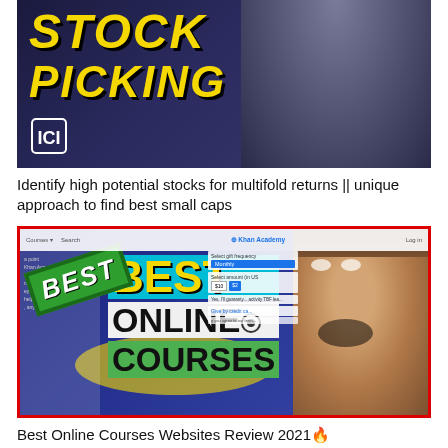[Figure (screenshot): YouTube thumbnail showing bold yellow italic text 'STOCK PICKING' on dark background with a person in grey shirt on the right, and a small ICI logo bottom left]
Identify high potential stocks for multifold returns || unique approach to find best small caps
[Figure (screenshot): YouTube thumbnail with red border showing 'BEST ONLINE COURSES' text in large bold font, a green 'BEST' stamp rotated, Khan Academy interface in background, yellow splash design, and a surprised man's face on the right]
Best Online Courses Websites Review 2021🔥